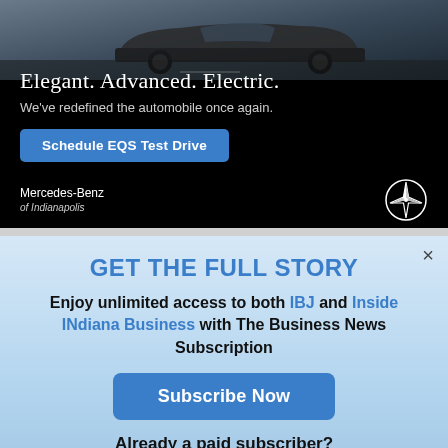[Figure (illustration): Mercedes-Benz advertisement banner showing a dark luxury electric vehicle (EQS) against a dark background with the text 'Elegant. Advanced. Electric.' and 'We've redefined the automobile once again.' with a 'Schedule EQS Test Drive' button and Mercedes-Benz of Indianapolis logo and star emblem.]
GET THE FULL STORY
Enjoy unlimited access to both IBJ and Inside INdiana Business with The Business News Subscription
Subscribe Now
Already a paid subscriber?
Log In